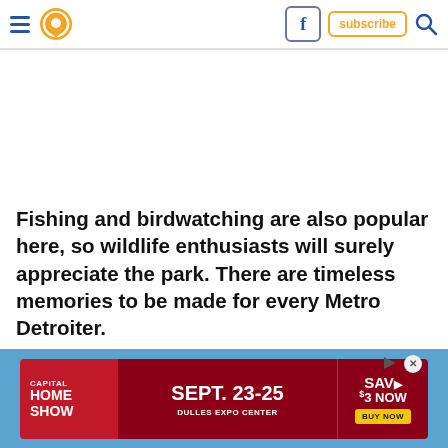Navigation header with hamburger menu, location pin icon, Facebook icon, subscribe button, search icon
[Figure (other): White advertisement placeholder space]
Fishing and birdwatching are also popular here, so wildlife enthusiasts will surely appreciate the park. There are timeless memories to be made for every Metro Detroiter.
[Figure (other): Advertisement banner: Capital Home Show, Sept. 23-25, Dulles Expo Center, Save $3 Now, Buy Now]
[Figure (photo): Outdoor scene with light blue sky and silhouettes of structures/towers at the bottom]